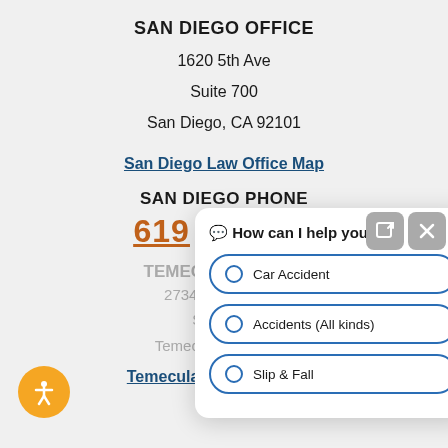SAN DIEGO OFFICE
1620 5th Ave
Suite 700
San Diego, CA 92101
San Diego Law Office Map
SAN DIEGO PHONE
619 483-3201
TEMECULA OFFICE
27340 Ynez Road
Suite 107
Temecula, CA
Temecula Law Office Map
[Figure (screenshot): Chat widget popup showing 'How can I help you?' with options: Car Accident, Accidents (All kinds), Slip & Fall, and icon buttons]